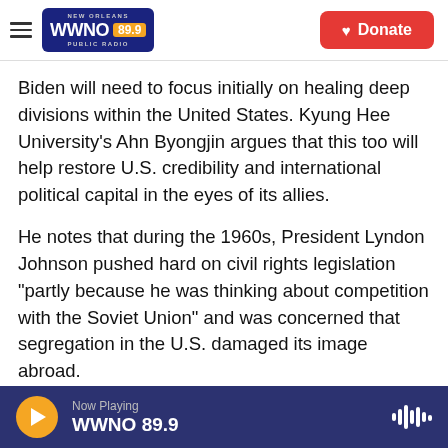NEW ORLEANS WWNO 89.9 PUBLIC RADIO | Donate
Biden will need to focus initially on healing deep divisions within the United States. Kyung Hee University's Ahn Byongjin argues that this too will help restore U.S. credibility and international political capital in the eyes of its allies.
He notes that during the 1960s, President Lyndon Johnson pushed hard on civil rights legislation "partly because he was thinking about competition with the Soviet Union" and was concerned that segregation in the U.S. damaged its image abroad.
NPR's So Eun Gong in Seoul contributed to this
Now Playing WWNO 89.9